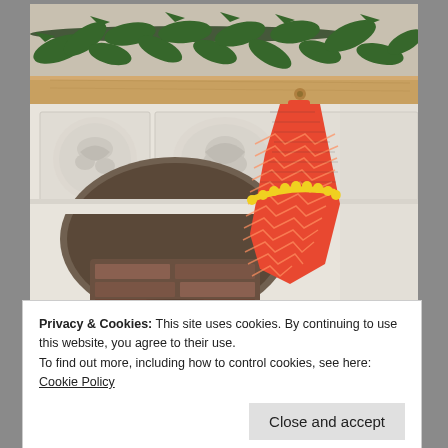[Figure (photo): A red/orange chevron-patterned Christmas stocking with yellow pom-pom trim hanging from a wooden mantelpiece over a white ornate Victorian fireplace surround, with holly branches decorating the top of the mantel.]
Privacy & Cookies: This site uses cookies. By continuing to use this website, you agree to their use.
To find out more, including how to control cookies, see here: Cookie Policy
Close and accept